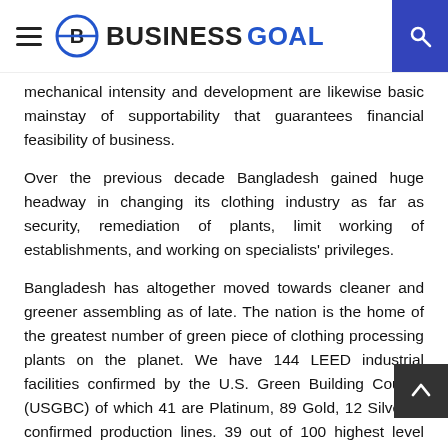BUSINESS GOAL
mechanical intensity and development are likewise basic mainstay of supportability that guarantees financial feasibility of business.
Over the previous decade Bangladesh gained huge headway in changing its clothing industry as far as security, remediation of plants, limit working of establishments, and working on specialists' privileges.
Bangladesh has altogether moved towards cleaner and greener assembling as of late. The nation is the home of the greatest number of green piece of clothing processing plants on the planet. We have 144 LEED industrial facilities confirmed by the U.S. Green Building Council (USGBC) of which 41 are Platinum, 89 Gold, 12 Silver, 3 confirmed production lines. 39 out of 100 highest level green processing plants are situated in Bangladesh.